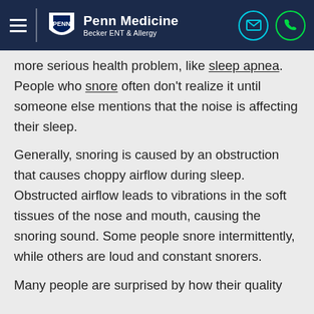Penn Medicine — Becker ENT & Allergy
more serious health problem, like sleep apnea. People who snore often don't realize it until someone else mentions that the noise is affecting their sleep.
Generally, snoring is caused by an obstruction that causes choppy airflow during sleep. Obstructed airflow leads to vibrations in the soft tissues of the nose and mouth, causing the snoring sound. Some people snore intermittently, while others are loud and constant snorers.
Many people are surprised by how their quality